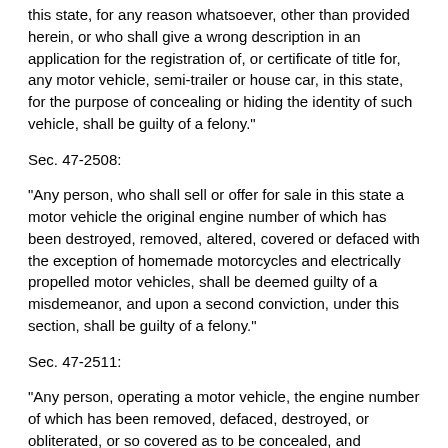this state, for any reason whatsoever, other than provided herein, or who shall give a wrong description in an application for the registration of, or certificate of title for, any motor vehicle, semi-trailer or house car, in this state, for the purpose of concealing or hiding the identity of such vehicle, shall be guilty of a felony."
Sec. 47-2508:
"Any person, who shall sell or offer for sale in this state a motor vehicle the original engine number of which has been destroyed, removed, altered, covered or defaced with the exception of homemade motorcycles and electrically propelled motor vehicles, shall be deemed guilty of a misdemeanor, and upon a second conviction, under this section, shall be guilty of a felony."
Sec. 47-2511:
"Any person, operating a motor vehicle, the engine number of which has been removed, defaced, destroyed, or obliterated, or so covered as to be concealed, and application has not been made to the department for permission to put on a new number shall be guilty of a misdemeanor. * * *"